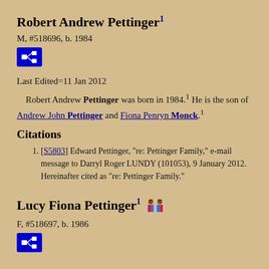Robert Andrew Pettinger1
M, #518696, b. 1984
[Figure (other): Blue icon button with family tree/relationship diagram symbol]
Last Edited=11 Jan 2012
Robert Andrew Pettinger was born in 1984.1 He is the son of Andrew John Pettinger and Fiona Penryn Monck.1
Citations
[S5803] Edward Pettinger, "re: Pettinger Family," e-mail message to Darryl Roger LUNDY (101053), 9 January 2012. Hereinafter cited as "re: Pettinger Family."
Lucy Fiona Pettinger1
F, #518697, b. 1986
[Figure (other): Blue icon button with family tree/relationship diagram symbol]